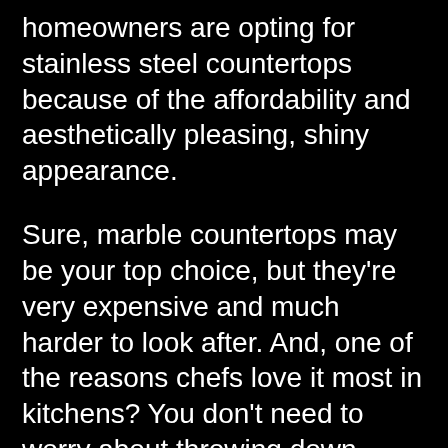homeowners are opting for stainless steel countertops because of the affordability and aesthetically pleasing, shiny appearance.
Sure, marble countertops may be your top choice, but they're very expensive and much harder to look after. And, one of the reasons chefs love it most in kitchens? You don't need to worry about throwing down trivets or a tea towel before placing a hot pot or hot tray from the oven down. Here are the top stainless steel cleaners you can purchase to keep your counters and appliances looking good as new.